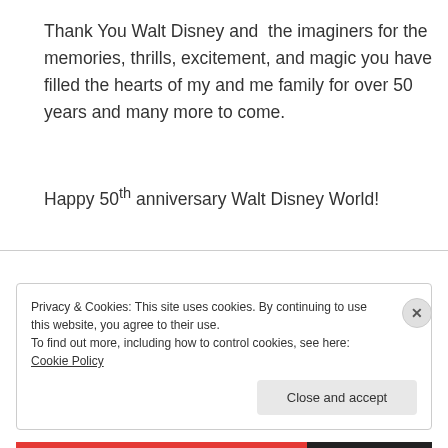Thank You Walt Disney and the imaginers for the memories, thrills, excitement, and magic you have filled the hearts of my and me family for over 50 years and many more to come.
Happy 50th anniversary Walt Disney World!
Privacy & Cookies: This site uses cookies. By continuing to use this website, you agree to their use.
To find out more, including how to control cookies, see here: Cookie Policy
Close and accept